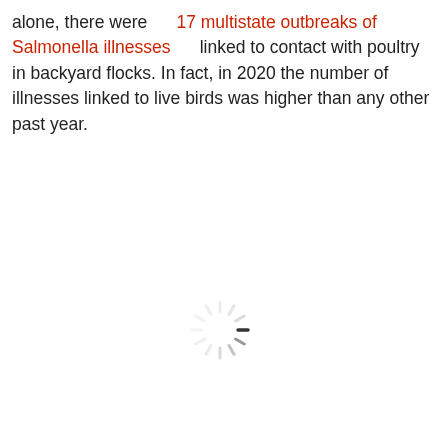alone, there were 17 multistate outbreaks of Salmonella illnesses linked to contact with poultry in backyard flocks. In fact, in 2020 the number of illnesses linked to live birds was higher than any other past year.
[Figure (other): Loading spinner icon (circular progress indicator)]